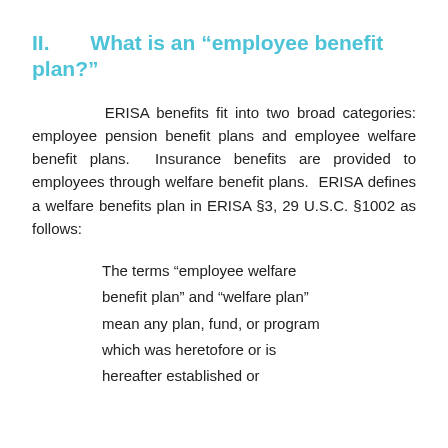II.      What is an “employee benefit plan?”
ERISA benefits fit into two broad categories: employee pension benefit plans and employee welfare benefit plans.  Insurance benefits are provided to employees through welfare benefit plans.  ERISA defines a welfare benefits plan in ERISA §3, 29 U.S.C. §1002 as follows:
The terms “employee welfare benefit plan” and “welfare plan” mean any plan, fund, or program which was heretofore or is hereafter established or